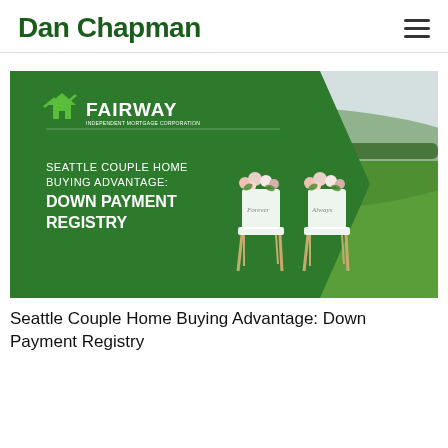Dan Chapman
[Figure (illustration): Fairway mortgage branded banner with green chevron shape on left showing 'SEATTLE COUPLE HOME BUYING ADVANTAGE: DOWN PAYMENT REGISTRY' text and Fairway logo, with photo of two wedding chairs decorated with flowers on green lawn on the right.]
Seattle Couple Home Buying Advantage: Down Payment Registry